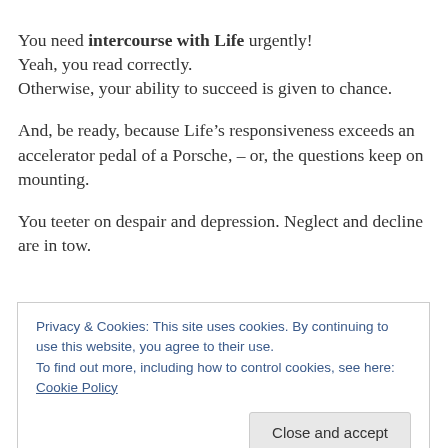You need intercourse with Life urgently! Yeah, you read correctly. Otherwise, your ability to succeed is given to chance.
And, be ready, because Life’s responsiveness exceeds an accelerator pedal of a Porsche, – or, the questions keep on mounting.
You teeter on despair and depression. Neglect and decline are in tow.
Privacy & Cookies: This site uses cookies. By continuing to use this website, you agree to their use.
To find out more, including how to control cookies, see here: Cookie Policy

Close and accept